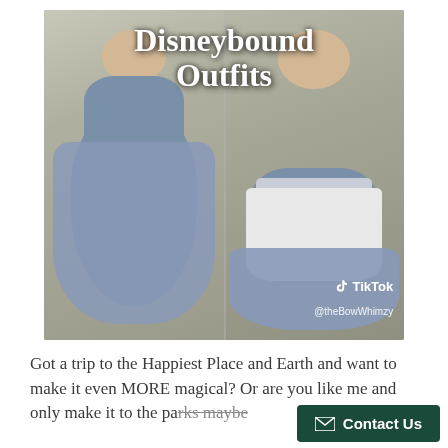[Figure (photo): TikTok video thumbnail showing two side-by-side images of a person in a blue Disneybound outfit. Left: full blue dress with sash. Right: same dress with white apron. Text overlay reads 'Disneybound Outfits'. TikTok watermark and @theBowWhimzy handle visible.]
Got a trip to the Happiest Place and Earth and want to make it even MORE magical? Or are you like me and only make it to the parks maybe...